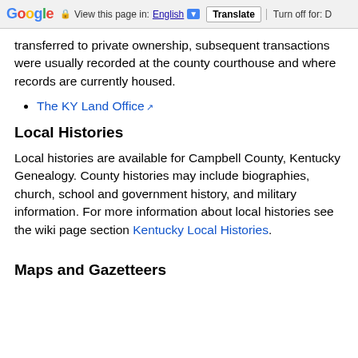Google | View this page in: English [▼] | Translate | Turn off for: D
transferred to private ownership, subsequent transactions were usually recorded at the county courthouse and where records are currently housed.
The KY Land Office [external link]
Local Histories
Local histories are available for Campbell County, Kentucky Genealogy. County histories may include biographies, church, school and government history, and military information. For more information about local histories see the wiki page section Kentucky Local Histories.
Maps and Gazetteers